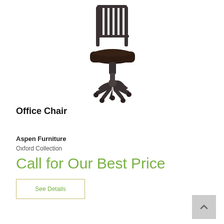[Figure (photo): A dark espresso-finished wood office chair with slatted back, dark brown leather cushion seat, adjustable swivel base with five casters on wheels, viewed at a slight angle.]
Office Chair
Aspen Furniture
Oxford Collection
Call for Our Best Price
See Details